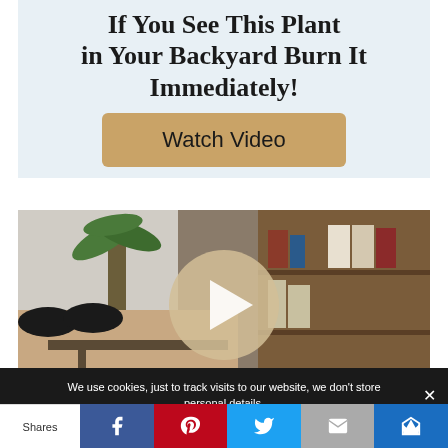[Figure (infographic): Ad banner with light blue background. Bold text reads 'If You See This Plant in Your Backyard Burn It Immediately!' with a tan/gold 'Watch Video' button below.]
[Figure (screenshot): Video thumbnail showing a person lying on a chair with feet up, bookshelf with books in background, a large circular play button overlay in the center.]
We use cookies, just to track visits to our website, we don't store personal details.
Shares